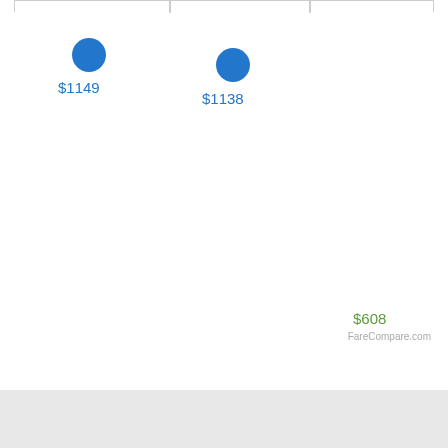[Figure (scatter-plot): Airfare price comparison]
FareCompare.com